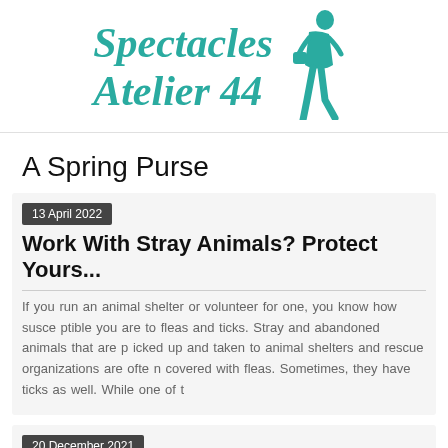[Figure (logo): Spectacles Atelier 44 logo with teal decorative font and silhouette of a woman carrying a purse]
A Spring Purse
13 April 2022
Work With Stray Animals? Protect Yours...
If you run an animal shelter or volunteer for one, you know how susceptible you are to fleas and ticks. Stray and abandoned animals that are picked up and taken to animal shelters and rescue organizations are often covered with fleas. Sometimes, they have ticks as well. While one of t
20 December 2021